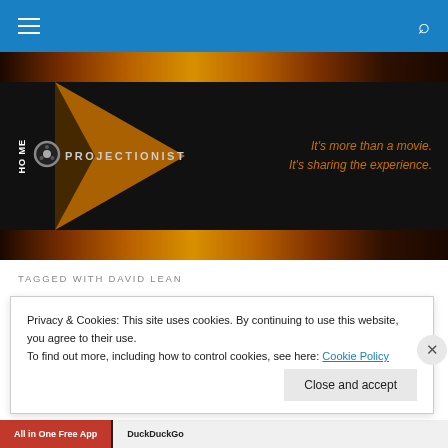Navigation bar with hamburger menu and search icon
[Figure (illustration): Film strip decorative band at top]
[Figure (logo): Home Projectionist logo banner — black background with orange triangle, film reel icon, text 'HOME PROJECTIONIST' and tagline 'It's more than a movie. It's sharing the experience.']
[Figure (illustration): Film strip decorative band at bottom]
TAGGED WITH DAVID LEAN
I Want a Do-Over of My
Privacy & Cookies: This site uses cookies. By continuing to use this website, you agree to their use.
To find out more, including how to control cookies, see here: Cookie Policy
Close and accept
[Figure (screenshot): Bottom ad strip with 'All in One Free App' and 'DuckDuckGo' branding]